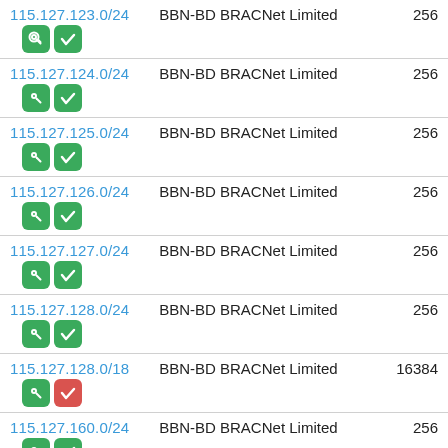115.127.123.0/24 | BBN-BD BRACNet Limited | 256
115.127.124.0/24 | BBN-BD BRACNet Limited | 256
115.127.125.0/24 | BBN-BD BRACNet Limited | 256
115.127.126.0/24 | BBN-BD BRACNet Limited | 256
115.127.127.0/24 | BBN-BD BRACNet Limited | 256
115.127.128.0/24 | BBN-BD BRACNet Limited | 256
115.127.128.0/18 | BBN-BD BRACNet Limited | 16384
115.127.160.0/24 | BBN-BD BRACNet Limited | 256